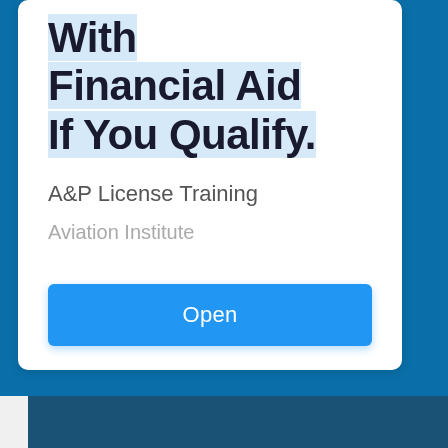With Financial Aid If You Qualify.
A&P License Training
Aviation Institute
Open